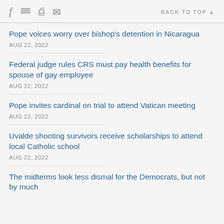f [twitter] [print] [mail]   BACK TO TOP ▲
Pope voices worry over bishop's detention in Nicaragua
AUG 22, 2022
Federal judge rules CRS must pay health benefits for spouse of gay employee
AUG 22, 2022
Pope invites cardinal on trial to attend Vatican meeting
AUG 22, 2022
Uvalde shooting survivors receive scholarships to attend local Catholic school
AUG 22, 2022
The midterms look less dismal for the Democrats, but not by much